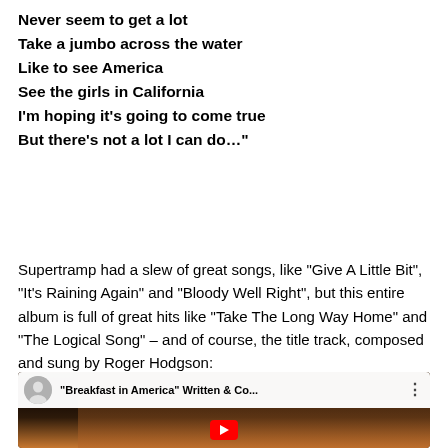Never seem to get a lot
Take a jumbo across the water
Like to see America
See the girls in California
I'm hoping it's going to come true
But there's not a lot I can do…"
Supertramp had a slew of great songs, like “Give A Little Bit”, “It's Raining Again” and “Bloody Well Right”, but this entire album is full of great hits like “Take The Long Way Home” and “The Logical Song” – and of course, the title track, composed and sung by Roger Hodgson:
[Figure (screenshot): YouTube video thumbnail for 'Breakfast in America' Written & Co... showing a performer at a microphone, with video title bar and avatar at top]